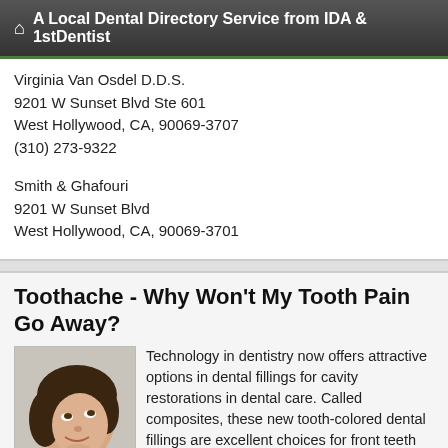A Local Dental Directory Service from IDA & 1stDentist
Virginia Van Osdel D.D.S.
9201 W Sunset Blvd Ste 601
West Hollywood, CA, 90069-3707
(310) 273-9322
Smith & Ghafouri
9201 W Sunset Blvd
West Hollywood, CA, 90069-3701
Toothache - Why Won't My Tooth Pain Go Away?
[Figure (photo): Portrait photo of a woman looking upward, smiling]
Technology in dentistry now offers attractive options in dental fillings for cavity restorations in dental care. Called composites, these new tooth-colored dental fillings are excellent choices for front teeth and other repairs that might be visible.... read more
Family Dentistry: Find a Dentist Who Offers